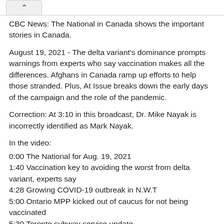CBC News: The National in Canada shows the important stories in Canada.
August 19, 2021 - The delta variant's dominance prompts warnings from experts who say vaccination makes all the differences. Afghans in Canada ramp up efforts to help those stranded. Plus, At Issue breaks down the early days of the campaign and the role of the pandemic.
Correction: At 3:10 in this broadcast, Dr. Mike Nayak is incorrectly identified as Mark Nayak.
In the video:
0:00 The National for Aug. 19, 2021
1:40 Vaccination key to avoiding the worst from delta variant, experts say
4:28 Growing COVID-19 outbreak in N.W.T
5:00 Ontario MPP kicked out of caucus for not being vaccinated
5:30 Toronto subway service update...